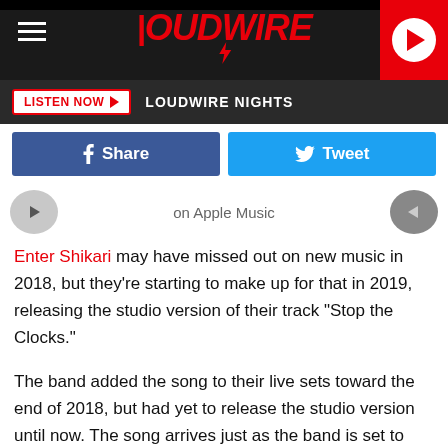[Figure (screenshot): Loudwire website header with logo, hamburger menu, play button, and LISTEN NOW bar with LOUDWIRE NIGHTS text]
[Figure (screenshot): Social sharing buttons: Facebook Share and Twitter Tweet]
on Apple Music
Enter Shikari may have missed out on new music in 2018, but they're starting to make up for that in 2019, releasing the studio version of their track "Stop the Clocks."
The band added the song to their live sets toward the end of 2018, but had yet to release the studio version until now. The song arrives just as the band is set to play the Reading and Leeds festivals later this month, and serves as their first